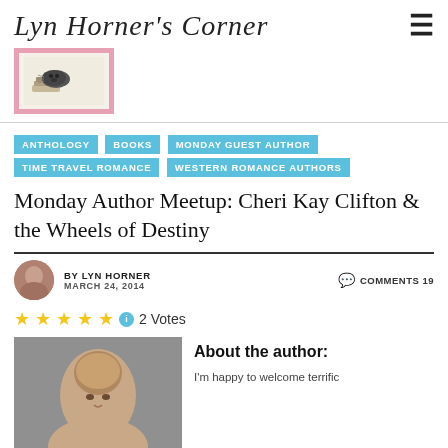Lyn Horner's Corner
[Figure (logo): Blog logo with a cat lying on books, pink background]
ANTHOLOGY
BOOKS
MONDAY GUEST AUTHOR
TIME TRAVEL ROMANCE
WESTERN ROMANCE AUTHORS
Monday Author Meetup: Cheri Kay Clifton & the Wheels of Destiny
BY LYN HORNER   MARCH 24, 2014   COMMENTS 19
2 Votes
[Figure (photo): Portrait photo of a woman with short brown hair, smiling, gray background]
About the author:
I'm happy to welcome terrific